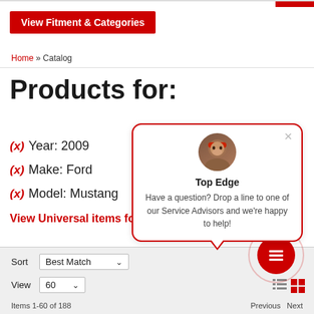View Fitment & Categories
Home » Catalog
Products for:
(x) Year: 2009
(x) Make: Ford
(x) Model: Mustang
View Universal items fo...
[Figure (other): Chat popup with advisor avatar, name 'Top Edge', and message 'Have a question? Drop a line to one of our Service Advisors and we're happy to help!']
Sort   Best Match
View   60
Items 1-60 of 188
Previous   Next